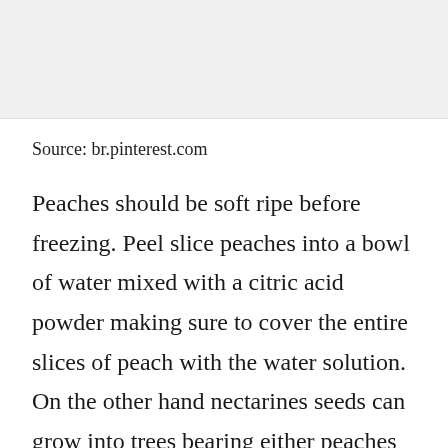[Figure (photo): Light gray placeholder image area at the top of the page]
Source: br.pinterest.com
Peaches should be soft ripe before freezing. Peel slice peaches into a bowl of water mixed with a citric acid powder making sure to cover the entire slices of peach with the water solution. On the other hand nectarines seeds can grow into trees bearing either peaches or nectarines. As with most fresh fruits the best way to store